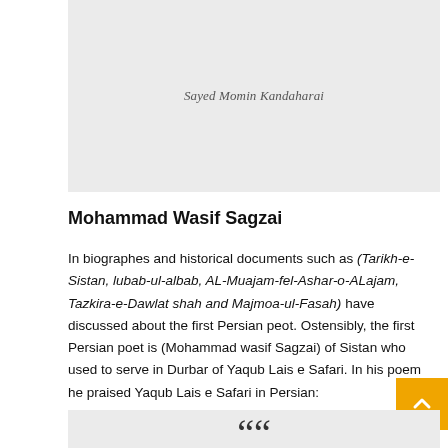[Figure (other): Gray image area with caption 'Sayed Momin Kandaharai']
Sayed Momin Kandaharai
Mohammad Wasif Sagzai
In biographes and historical documents such as (Tarikh-e-Sistan, lubab-ul-albab, AL-Muajam-fel-Ashar-o-ALajam, Tazkira-e-Dawlat shah and Majmoa-ul-Fasah) have discussed about the first Persian peot. Ostensibly, the first Persian poet is (Mohammad wasif Sagzai) of Sistan who used to serve in Durbar of Yaqub Lais e Safari. In his poem he praised Yaqub Lais e Safari in Persian: